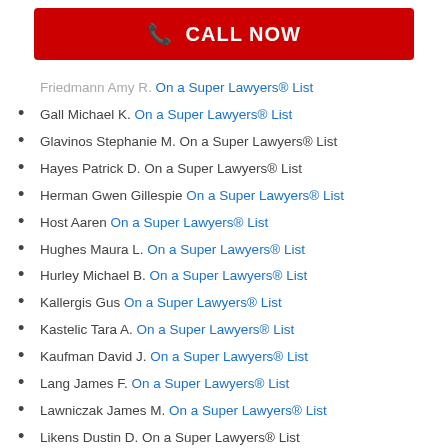[Figure (other): Red CALL NOW button with phone icon]
Friedmann Amy R. On a Super Lawyers® List
Gall Michael K. On a Super Lawyers® List
Glavinos Stephanie M. On a Super Lawyers® List
Hayes Patrick D. On a Super Lawyers® List
Herman Gwen Gillespie On a Super Lawyers® List
Host Aaren On a Super Lawyers® List
Hughes Maura L. On a Super Lawyers® List
Hurley Michael B. On a Super Lawyers® List
Kallergis Gus On a Super Lawyers® List
Kastelic Tara A. On a Super Lawyers® List
Kaufman David J. On a Super Lawyers® List
Lang James F. On a Super Lawyers® List
Lawniczak James M. On a Super Lawyers® List
Likens Dustin D. On a Super Lawyers® List
Liu Brad On a Super Lawyers® List
McDougall Mark W. On a Super Lawyers® List
McKee Thomas F. On a Super Lawyers® List